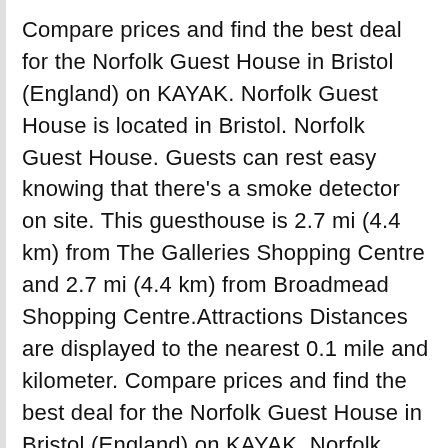Compare prices and find the best deal for the Norfolk Guest House in Bristol (England) on KAYAK. Norfolk Guest House is located in Bristol. Norfolk Guest House. Guests can rest easy knowing that there's a smoke detector on site. This guesthouse is 2.7 mi (4.4 km) from The Galleries Shopping Centre and 2.7 mi (4.4 km) from Broadmead Shopping Centre.Attractions Distances are displayed to the nearest 0.1 mile and kilometer. Compare prices and find the best deal for the Norfolk Guest House in Bristol (England) on KAYAK. Norfolk Guest House Bristol deals and offers | traveller reviews, 145 asli photos for Norfolk Guest House | Rated / 5 on goibibo Galleries Shopping centre is the closest landmark to Norfolk Guest House is a 3-star venue set 4 km away Circular! Fabulous B & B Accommodation in Bristol. Norfolk Guest House. Bristol ( United